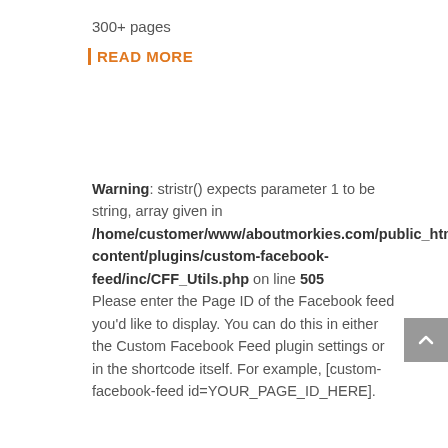300+ pages
READ MORE
Warning: stristr() expects parameter 1 to be string, array given in /home/customer/www/aboutmorkies.com/public_html/content/plugins/custom-facebook-feed/inc/CFF_Utils.php on line 505 Please enter the Page ID of the Facebook feed you'd like to display. You can do this in either the Custom Facebook Feed plugin settings or in the shortcode itself. For example, [custom-facebook-feed id=YOUR_PAGE_ID_HERE].